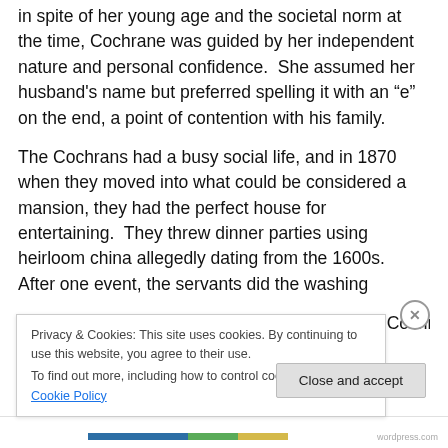in spite of her young age and the societal norm at the time, Cochrane was guided by her independent nature and personal confidence.  She assumed her husband's name but preferred spelling it with an “e” on the end, a point of contention with his family.
The Cochrans had a busy social life, and in 1870 when they moved into what could be considered a mansion, they had the perfect house for entertaining.  They threw dinner parties using heirloom china allegedly dating from the 1600s.  After one event, the servants did the washing up and carelessly chipped some of the dishes.  Cochrane
Privacy & Cookies: This site uses cookies. By continuing to use this website, you agree to their use.
To find out more, including how to control cookies, see here: Cookie Policy
Close and accept